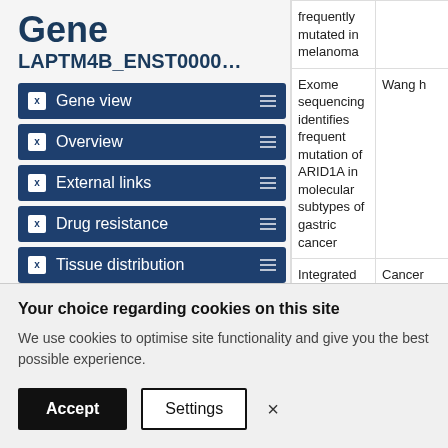Gene
LAPTM4B_ENST0000…
Gene view
Overview
External links
Drug resistance
Tissue distribution
Genome browser
Mutation distribution
|  |  |
| --- | --- |
| frequently mutated in melanoma |  |
| Exome sequencing identifies frequent mutation of ARID1A in molecular subtypes of gastric cancer | Wang h |
| Integrated genomic analyses of ovarian carcinoma | Cancer Genom Atlas Resear Networ |
Your choice regarding cookies on this site
We use cookies to optimise site functionality and give you the best possible experience.
Accept  Settings  ×